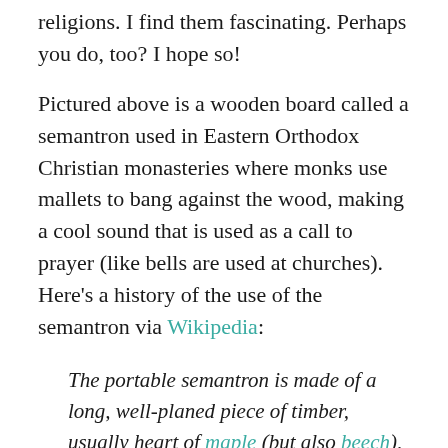religions. I find them fascinating. Perhaps you do, too? I hope so!
Pictured above is a wooden board called a semantron used in Eastern Orthodox Christian monasteries where monks use mallets to bang against the wood, making a cool sound that is used as a call to prayer (like bells are used at churches). Here's a history of the use of the semantron via Wikipedia:
The portable semantron is made of a long, well-planed piece of timber, usually heart of maple (but also beech), from 12 feet (3.7 m) and upwards in length, by 1½ feet (46 cm)